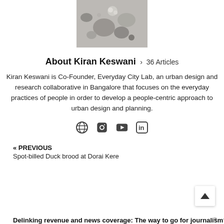[Figure (photo): Partial aerial or ground photo showing sandy terrain with rocks and small objects, appears grayscale/muted tones]
About Kiran Keswani › 36 Articles
Kiran Keswani is Co-Founder, Everyday City Lab, an urban design and research collaborative in Bangalore that focuses on the everyday practices of people in order to develop a people-centric approach to urban design and planning.
[Figure (other): Social media icons: globe/website, Facebook, YouTube, LinkedIn]
« PREVIOUS
Spot-billed Duck brood at Dorai Kere
Delinking revenue and news coverage: The way to go for journalism?